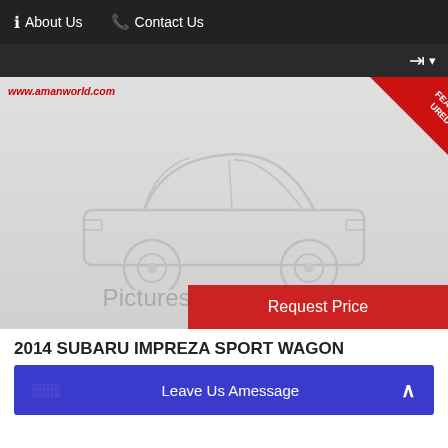About Us   Contact Us
[Figure (screenshot): Car dealership website screenshot showing a placeholder car image with 'Pictures Coming Soon' text, a 'FEATURED' ribbon in the top-right corner, website URL www.amanworld.com, a red 'Request Price' button, and a listing for '2014 SUBARU IMPREZA SPORT WAGON' with a blue 'Leave Us Amessage' button.]
2014 SUBARU IMPREZA SPORT WAGON
Leave Us Amessage